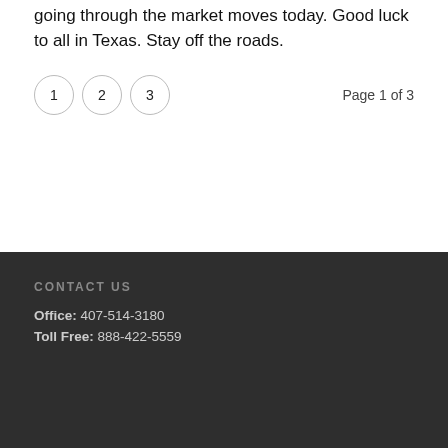going through the market moves today. Good luck to all in Texas. Stay off the roads.
1  2  3   Page 1 of 3
CONTACT US
Office: 407-514-3180
Toll Free: 888-422-5559